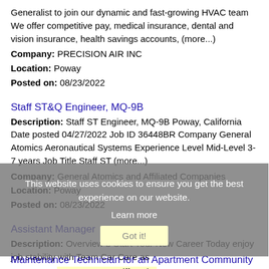Generalist to join our dynamic and fast-growing HVAC team We offer competitive pay, medical insurance, dental and vision insurance, health savings accounts, (more...)
Company: PRECISION AIR INC
Location: Poway
Posted on: 08/23/2022
Staff ST&Q Engineer, MQ-9B
Description: Staff ST Engineer, MQ-9B Poway, California Date posted 04/27/2022 Job ID 36448BR Company General Atomics Aeronautical Systems Experience Level Mid-Level 3-7 years Job Title Staff ST (more...)
Company: General Atomics and Affiliated Companies
Location: Poway
Posted on: 08/23/2022
Assistant Manager
Description: Overview b Start Your New Career Today enjoy job stability with Team Car Care as
Company: Team Car CareJiffy Lube
Location: Poway
Posted on: 08/23/2022
Maintenance Technician for an Apartment Community